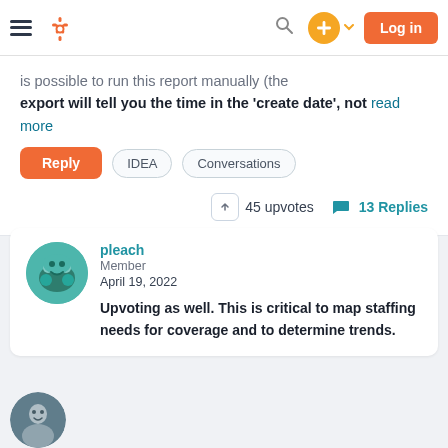[Figure (screenshot): HubSpot community forum navigation bar with hamburger menu, HubSpot sprocket logo, search icon, orange plus button with dropdown arrow, and orange Log in button]
export will tell you the time in the 'create date', not read more
Reply | IDEA | Conversations
45 upvotes   13 Replies
pleach
Member
April 19, 2022
Upvoting as well. This is critical to map staffing needs for coverage and to determine trends.